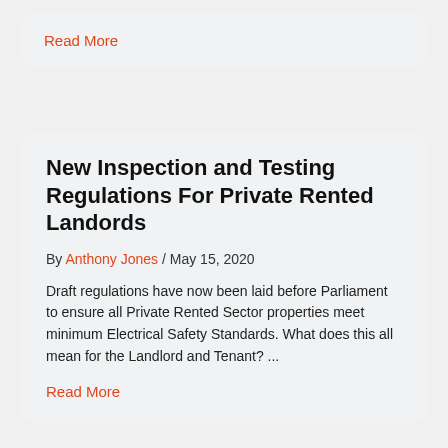Read More
New Inspection and Testing Regulations For Private Rented Landlords
By Anthony Jones / May 15, 2020
Draft regulations have now been laid before Parliament to ensure all Private Rented Sector properties meet minimum Electrical Safety Standards. What does this all mean for the Landlord and Tenant? ...
Read More